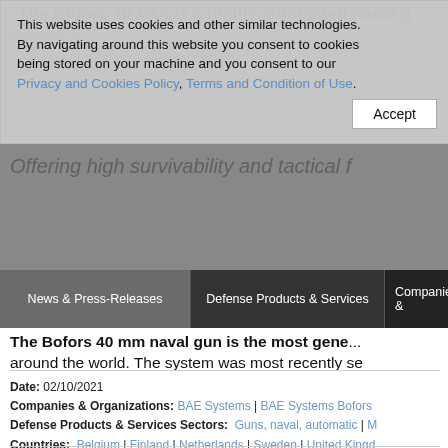[Figure (screenshot): Screenshot of a defense industry website with cookie consent banner overlay, navigation bar, article text about Bofors 40 naval gun, and metadata section]
This website uses cookies and other similar technologies. By navigating around this website you consent to cookies being stored on your machine and you consent to our Privacy and Cookies Policy, Terms and Condition of Use. Accept
"The Bofors 40 Mk4 is a highly automated naval g...
Offering high survivability and tactical f...
News & Press-Releases | Defense Products & Services | Companies &...
The Bofors 40 mm naval gun is the most gen... around the world. The system was most recently se...
Date: 02/10/2021
Companies & Organizations: BAE Systems | BAE Systems Bofors...
Defense Products & Services Sectors: Guns, naval, automatic | M...
Countries: Belgium | Finland | Netherlands | Sweden | United Kingd...
Sources of Information: BAE Systems
Publish Hom... & Press-Release... Companies... Profile P...